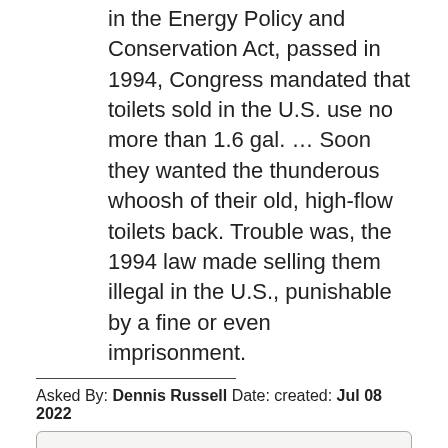in the Energy Policy and Conservation Act, passed in 1994, Congress mandated that toilets sold in the U.S. use no more than 1.6 gal. … Soon they wanted the thunderous whoosh of their old, high-flow toilets back. Trouble was, the 1994 law made selling them illegal in the U.S., punishable by a fine or even imprisonment.
Asked By: Dennis Russell Date: created: Jul 08 2022
Can I put ceramics in the recycling
Answered By: Wallace Anderson Date: created: Jul 10 2022
According to Waste Management, the presence of ceramics like coffee mugs and plates in a batch of your typical, curbside recyclable glass will weaken